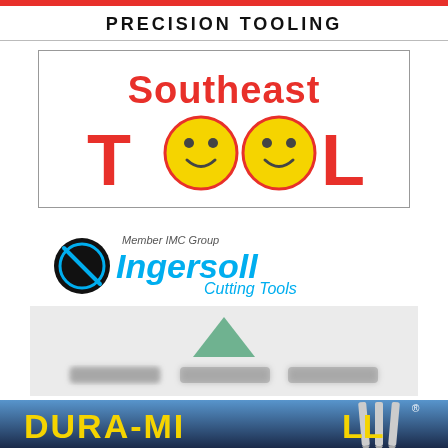PRECISION TOOLING
[Figure (logo): Southeast Tool logo with red and yellow smiley face letters spelling TOOL]
[Figure (logo): Ingersoll Cutting Tools logo with blue circular icon and blue text, Member IMC Group]
[Figure (logo): Blurred third logo with green triangle shape and gray text, unreadable]
[Figure (logo): DURA-MILL logo with yellow text on blue/dark background with drill bits on right]